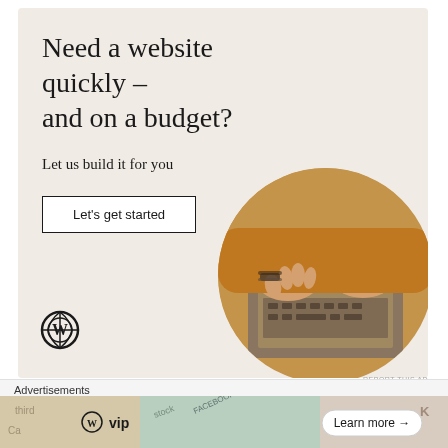[Figure (infographic): WordPress.com advertisement banner on a beige background. Headline reads 'Need a website quickly – and on a budget?' with subtext 'Let us build it for you', a 'Let's get started' button, WordPress logo at bottom left, and a circular photo of hands typing on a laptop at bottom right.]
REPORT THIS AD
Search
Advertisements
[Figure (infographic): WordPress VIP advertisement banner showing WP VIP logo and 'Learn more →' button, with colorful background suggesting social media and finance imagery.]